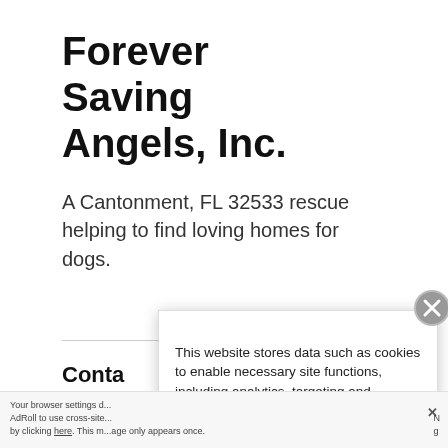Forever Saving Angels, Inc.
A Cantonment, FL 32533 rescue helping to find loving homes for dogs.
Conta
Phon
[Figure (screenshot): Cookie consent popup overlay with close button (X icon), body text about cookies and data storage, and a Cookie Policy link]
Your browser settings d... AdRoll to use cross-site... by clicking here. This m...age only appears once.